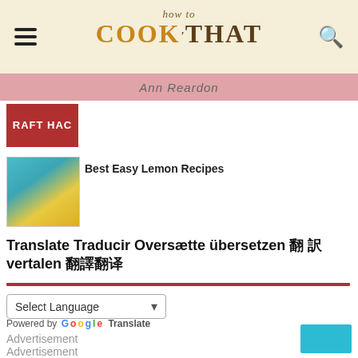how to COOKTHAT - Ann Reardon
[Figure (photo): Craft hacks thumbnail - red background with stylized text RAFT HAC]
Best Easy Lemon Recipes
[Figure (photo): Lemon recipe thumbnail - jar with yellow lemon curd on teal background]
Translate Traducir Oversætte übersetzen 翻 訳 vertalen 翻譯翻译
Select Language
Powered by Google Translate
Advertisement
Advertisement